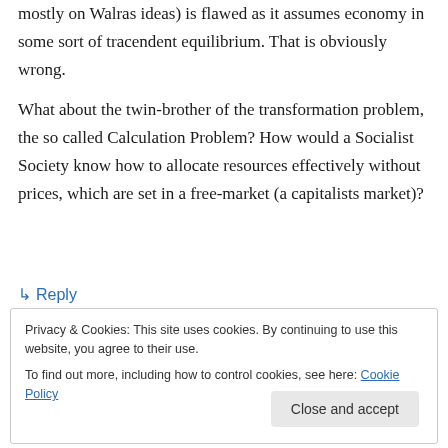mostly on Walras ideas) is flawed as it assumes economy in some sort of tracendent equilibrium. That is obviously wrong.
What about the twin-brother of the transformation problem, the so called Calculation Problem? How would a Socialist Society know how to allocate resources effectively without prices, which are set in a free-market (a capitalists market)?
↳ Reply
Privacy & Cookies: This site uses cookies. By continuing to use this website, you agree to their use.
To find out more, including how to control cookies, see here: Cookie Policy